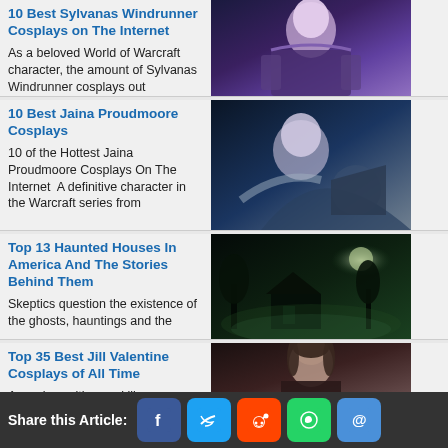10 Best Sylvanas Windrunner Cosplays on The Internet
As a beloved World of Warcraft character, the amount of Sylvanas Windrunner cosplays out
[Figure (photo): Photo of Sylvanas Windrunner cosplay, woman with white hair and armored costume]
10 Best Jaina Proudmoore Cosplays
10 of the Hottest Jaina Proudmoore Cosplays On The Internet  A definitive character in the Warcraft series from
[Figure (photo): Photo of Jaina Proudmoore cosplay, dark fantasy scene]
Top 13 Haunted Houses In America And The Stories Behind Them
Skeptics question the existence of the ghosts, hauntings and the
[Figure (photo): Dark illustration of a haunted house with green mist and moonlight]
Top 35 Best Jill Valentine Cosplays of All Time
A survivor with sexy killer
[Figure (photo): Photo of Jill Valentine cosplay, woman with short dark hair]
Share this Article: